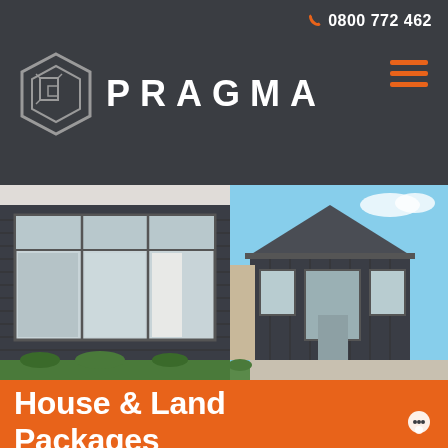0800 772 462
[Figure (logo): Pragma logo with hexagon icon and PRAGMA wordmark in white on dark background]
[Figure (photo): Two side-by-side photos of modern dark-clad residential homes. Left photo shows close-up of large windows on dark weatherboard house. Right photo shows exterior of modern home with pitched roof and mixed cladding.]
House & Land Packages